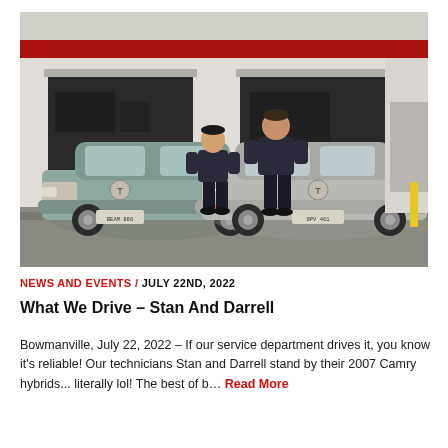[Figure (photo): Two automotive technicians in dark uniforms standing in front of a car dealership service bay. Two Toyota Camry vehicles (one blue-grey, one silver) are parked in front of the open service bay doors. Orange traffic cones visible in the background.]
NEWS AND EVENTS / JULY 22ND, 2022
What We Drive – Stan And Darrell
Bowmanville, July 22, 2022 – If our service department drives it, you know it's reliable! Our technicians Stan and Darrell stand by their 2007 Camry hybrids... literally lol! The best of b… Read More